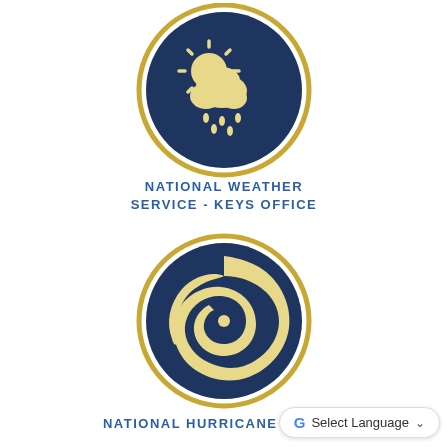[Figure (illustration): Dark navy blue circle with a weather icon (sun, cloud, and rain drops) in golden/cream color, surrounded by a golden/yellow circular ring border on white background]
NATIONAL WEATHER SERVICE - KEYS OFFICE
[Figure (illustration): Dark navy blue circle with a hurricane/cyclone icon in golden/cream color, surrounded by a golden/yellow circular ring border on white background]
NATIONAL HURRICANE CENTER